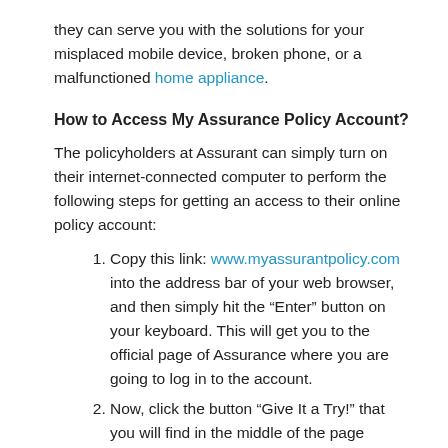they can serve you with the solutions for your misplaced mobile device, broken phone, or a malfunctioned home appliance.
How to Access My Assurance Policy Account?
The policyholders at Assurant can simply turn on their internet-connected computer to perform the following steps for getting an access to their online policy account:
Copy this link: www.myassurantpolicy.com into the address bar of your web browser, and then simply hit the “Enter” button on your keyboard. This will get you to the official page of Assurance where you are going to log in to the account.
Now, click the button “Give It a Try!” that you will find in the middle of the page where you are. After clicking this button, a new page will open in a